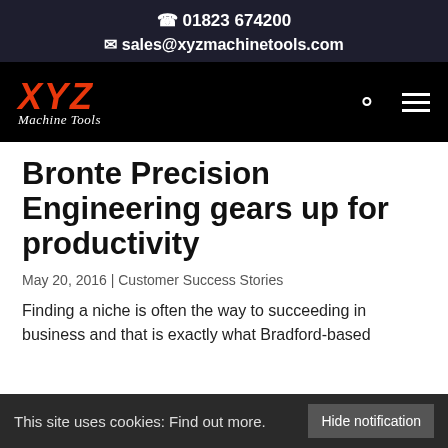📞 01823 674200 ✉ sales@xyzmachinetools.com
[Figure (logo): XYZ Machine Tools logo — red italic XYZ text with white cursive 'Machine Tools' subtitle on black background, with search and hamburger menu icons]
Bronte Precision Engineering gears up for productivity
May 20, 2016 | Customer Success Stories
Finding a niche is often the way to succeeding in business and that is exactly what Bradford-based